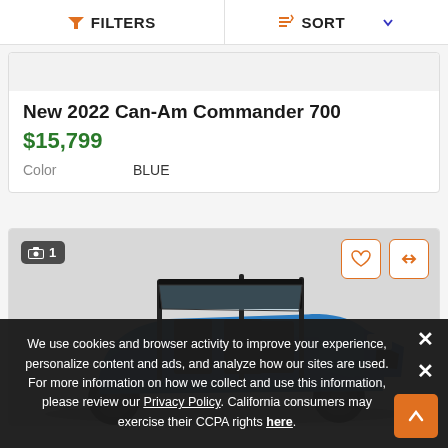FILTERS   SORT
New 2022 Can-Am Commander 700
$15,799
Color   BLUE
[Figure (photo): Blue Can-Am Commander 700 UTV side-by-side vehicle with roll cage, multiple seats, viewed from front-left angle]
We use cookies and browser activity to improve your experience, personalize content and ads, and analyze how our sites are used. For more information on how we collect and use this information, please review our Privacy Policy. California consumers may exercise their CCPA rights here.